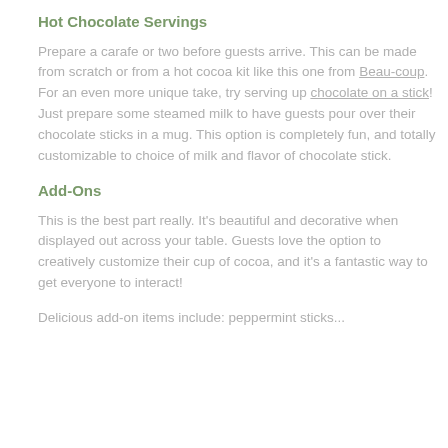Hot Chocolate Servings
Prepare a carafe or two before guests arrive. This can be made from scratch or from a hot cocoa kit like this one from Beau-coup. For an even more unique take, try serving up chocolate on a stick! Just prepare some steamed milk to have guests pour over their chocolate sticks in a mug. This option is completely fun, and totally customizable to choice of milk and flavor of chocolate stick.
Add-Ons
This is the best part really. It's beautiful and decorative when displayed out across your table. Guests love the option to creatively customize their cup of cocoa, and it's a fantastic way to get everyone to interact!
Delicious add-on items include: peppermint sticks...